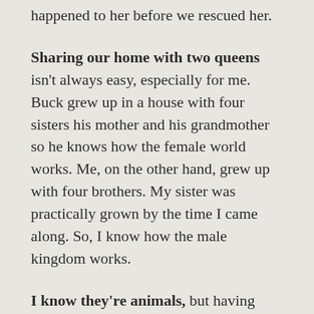happened to her before we rescued her.
Sharing our home with two queens isn't always easy, especially for me. Buck grew up in a house with four sisters his mother and his grandmother so he knows how the female world works. Me, on the other hand, grew up with four brothers. My sister was practically grown by the time I came along. So, I know how the male kingdom works.
I know they're animals, but having owned only male dogs throughout our married life, these two queens are definitely different, especially Bella. She and I are both alike: strong-willed, sassy, and difficult to get along with. So, it's a